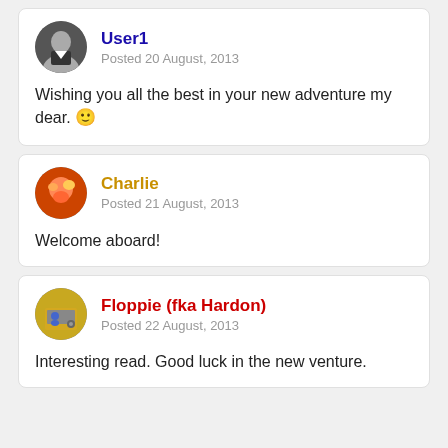User1
Posted 20 August, 2013
Wishing you all the best in your new adventure my dear. 🙂
Charlie
Posted 21 August, 2013
Welcome aboard!
Floppie (fka Hardon)
Posted 22 August, 2013
Interesting read. Good luck in the new venture.